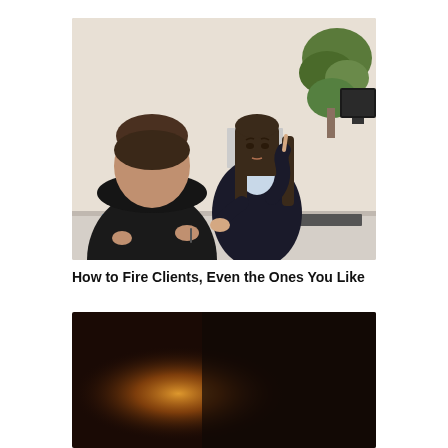[Figure (photo): A professional woman in a dark blazer sits across a desk from a man with his back to the camera. The woman appears stern and is gesturing with one finger raised. A computer monitor and green plants are visible in the background. Office binders are on a shelf behind the woman.]
How to Fire Clients, Even the Ones You Like
[Figure (photo): A dark-toned image with a warm amber/orange light source visible, suggesting an indoor scene with dark background.]